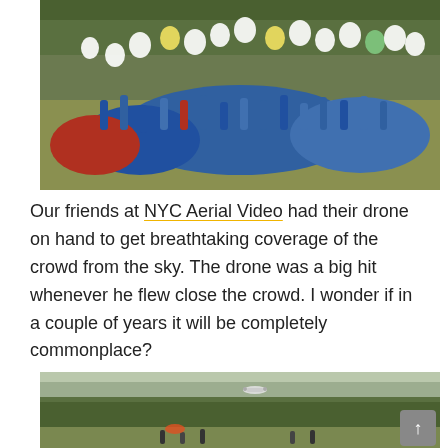[Figure (photo): Large crowd of people outdoors in a park, many wearing blue shirts, holding and releasing white and colorful balloons into the air. Trees visible in background.]
Our friends at NYC Aerial Video had their drone on hand to get breathtaking coverage of the crowd from the sky. The drone was a big hit whenever he flew close the crowd. I wonder if in a couple of years it will be completely commonplace?
[Figure (photo): Park scene with trees, a drone visible in the sky, and people in the background below.]